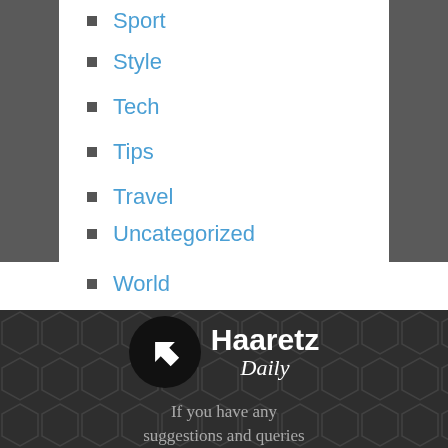Sport
Style
Tech
Tips
Travel
Uncategorized
World
[Figure (logo): Haaretz Daily logo: black circle with white arrow cursor icon, bold white 'Haaretz' text, italic white 'Daily' text]
If you have any suggestions and queries